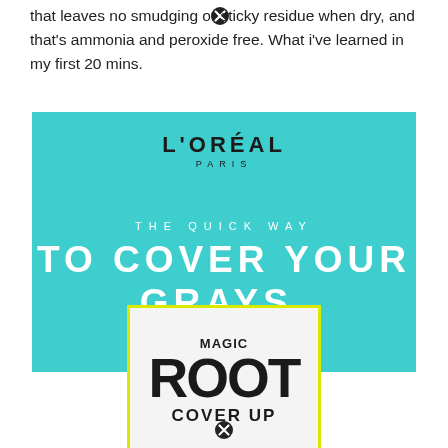that leaves no smudging or sticky residue when dry, and that's ammonia and peroxide free. What i've learned in my first 20 mins.
[Figure (illustration): L'Oréal Paris advertisement for Magic Root Cover Up product on a teal background. Text reads 'THE QUICK WAY TO COVER YOUR GRAYS.' with product logo box showing MAGIC ROOT COVER UP.]